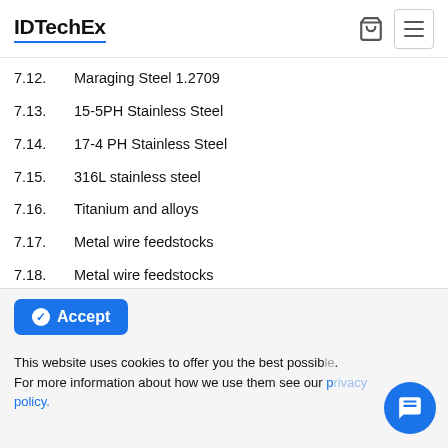IDTechEx
7.12.	Maraging Steel 1.2709
7.13.	15-5PH Stainless Steel
7.14.	17-4 PH Stainless Steel
7.15.	316L stainless steel
7.16.	Titanium and alloys
7.17.	Metal wire feedstocks
7.18.	Metal wire feedstocks
7.19.	Metal + polymer filaments
7.20.	Metal + polymer filaments
7.21.	Metal + polymer filaments: BASF Ultrafuse 316LX
7.22	Metal + photopolymer resin
This website uses cookies to offer you the best possible. For more information about how we use them see our privacy policy.